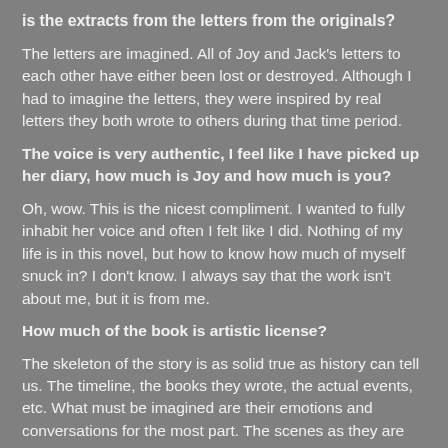is the extracts from the letters from the originals?
The letters are imagined. All of Joy and Jack's letters to each other have either been lost or destroyed. Although I had to imagine the letters, they were inspired by real letters they both wrote to others during that time period.
The voice is very authentic, I feel like I have picked up her diary, how much is Joy and how much is you?
Oh, wow. This is the nicest compliment. I wanted to fully inhabit her voice and often I felt like I did. Nothing of my life is in this novel, but how to know how much of myself snuck in? I don't know. I always say that the work isn't about me, but it is from me.
How much of the book is artistic license?
The skeleton of the story is as solid true as history can tell us. The timeline, the books they wrote, the actual events, etc. What must be imagined are their emotions and conversations for the most part. The scenes as they are